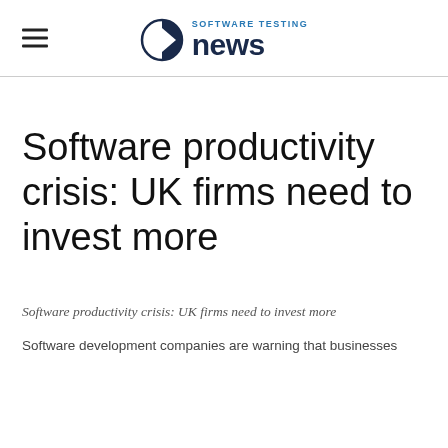SOFTWARE TESTING news
Software productivity crisis: UK firms need to invest more
Software productivity crisis: UK firms need to invest more
Software development companies are warning that businesses